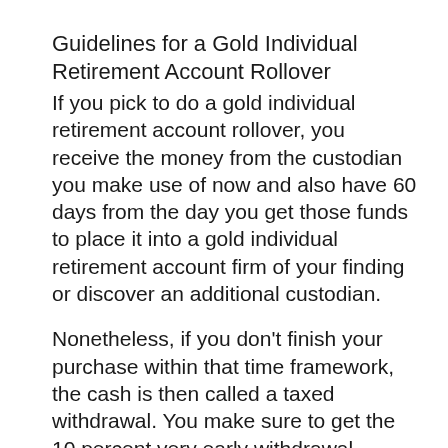Guidelines for a Gold Individual Retirement Account Rollover
If you pick to do a gold individual retirement account rollover, you receive the money from the custodian you make use of now and also have 60 days from the day you get those funds to place it into a gold individual retirement account firm of your finding or discover an additional custodian.
Nonetheless, if you don't finish your purchase within that time framework, the cash is then called a taxed withdrawal. You make sure to get the 10 percent very early withdrawal penalty (for those under 59.5 years old.).